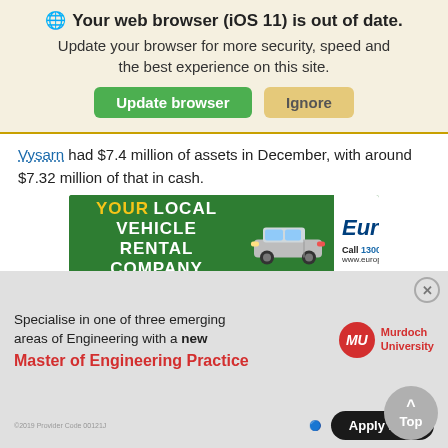[Figure (screenshot): Browser update notification banner with globe icon, bold text 'Your web browser (iOS 11) is out of date.', subtitle text, green 'Update browser' button and tan 'Ignore' button]
Vysarn had $7.4 million of assets in December, with around $7.32 million of that in cash.
[Figure (screenshot): Europcar advertisement banner: 'YOUR LOCAL VEHICLE RENTAL COMPANY' with vehicle image and Europcar logo, 'Call 1300 HIRE ME', 'www.europcar.com.au']
On completion of the transaction, Vysarn will replace non-
[Figure (screenshot): Murdoch University advertisement overlay: 'Specialise in one of three emerging areas of Engineering with a new Master of Engineering Practice' with MU logo, 'Apply Now' button, and 'Top' scroll button]